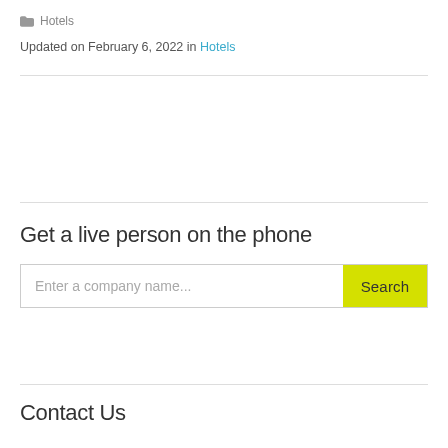Hotels
Updated on February 6, 2022 in Hotels
Get a live person on the phone
[Figure (screenshot): Search bar with placeholder text 'Enter a company name...' and a yellow 'Search' button]
Contact Us